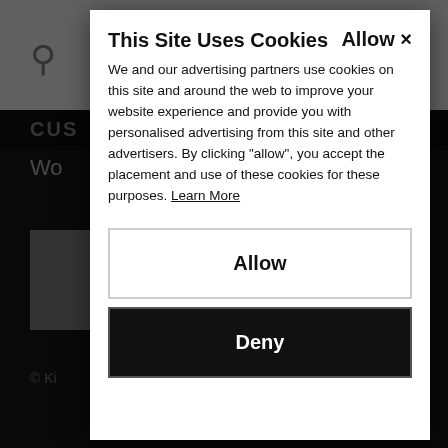[Figure (screenshot): Website background showing a dark e-commerce site (Kiltane) with search icon, logo text, navigation bar, partially visible product page content, and footer, all dimmed by a dark overlay.]
This Site Uses Cookies
Allow ×
We and our advertising partners use cookies on this site and around the web to improve your website experience and provide you with personalised advertising from this site and other advertisers. By clicking "allow", you accept the placement and use of these cookies for these purposes. Learn More
Allow
Deny